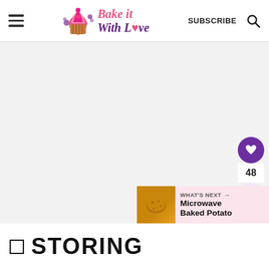Bake it With Love — SUBSCRIBE
[Figure (photo): Large content image area, mostly blank/light gray placeholder]
[Figure (infographic): Floating sidebar with heart/favorite button (purple circle with heart icon), count badge showing 48, and share button (pink circle with share icon)]
[Figure (photo): What's Next banner showing a baked potato thumbnail image with label 'WHAT'S NEXT' and text 'Microwave Baked Potato']
STORING